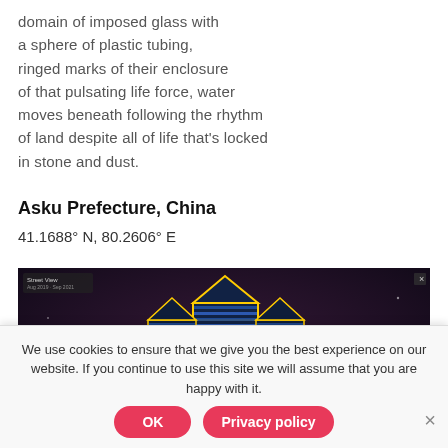domain of imposed glass with
a sphere of plastic tubing,
ringed marks of their enclosure
of that pulsating life force, water
moves beneath following the rhythm
of land despite all of life that's locked
in stone and dust.
Asku Prefecture, China
41.1688° N, 80.2606° E
[Figure (photo): Night photograph of an illuminated modern building in Asku Prefecture, China. The multi-story building is lit with bright blue and gold/yellow neon lights against a dark night sky. Signs are visible in the foreground with red and blue lights.]
We use cookies to ensure that we give you the best experience on our website. If you continue to use this site we will assume that you are happy with it.
OK
Privacy policy